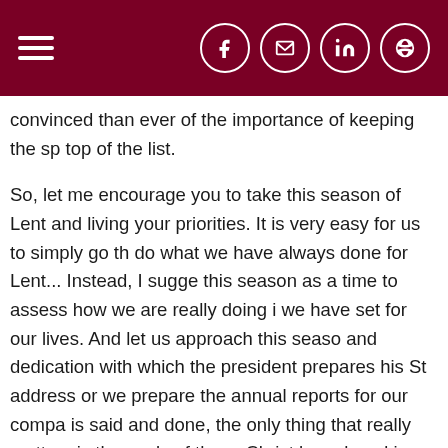[navigation bar with hamburger menu and social icons: Facebook, Email, LinkedIn, Globe]
convinced than ever of the importance of keeping the sp top of the list.

So, let me encourage you to take this season of Lent and living your priorities. It is very easy for us to simply go th do what we have always done for Lent... Instead, I sugge this season as a time to assess how we are really doing i we have set for our lives. And let us approach this seaso and dedication with which the president prepares his St address or we prepare the annual reports for our compa is said and done, the only thing that really matters is the souls of those Christ has placed in our lives.